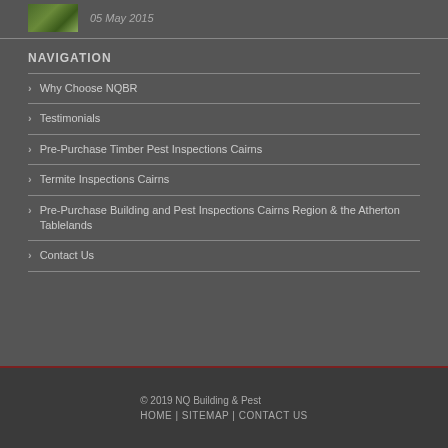[Figure (photo): Small green foliage thumbnail image]
05 May 2015
NAVIGATION
Why Choose NQBR
Testimonials
Pre-Purchase Timber Pest Inspections Cairns
Termite Inspections Cairns
Pre-Purchase Building and Pest Inspections Cairns Region & the Atherton Tablelands
Contact Us
© 2019 NQ Building & Pest
HOME | SITEMAP | CONTACT US